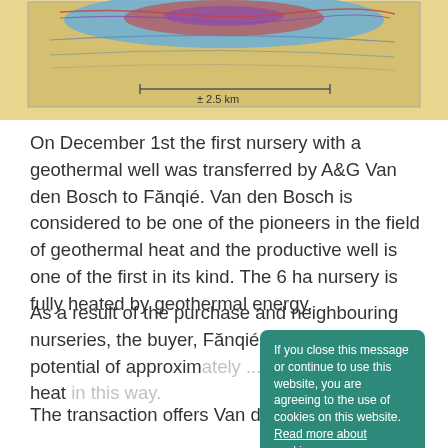[Figure (schematic): Geothermal cross-section diagram showing subsurface layers with colored temperature zones (blue, red, purple) and a scale bar of ± 2.5 km at the bottom.]
On December 1st the first nursery with a geothermal well was transferred by A&G Van den Bosch to Fănqié. Van den Bosch is considered to be one of the pioneers in the field of geothermal heat and the productive well is one of the first in its kind. The 6 ha nursery is fully heated by geothermal energy.
As a result of the purchase and neighbouring nurseries, the buyer, Fănqié has a sales potential of approxim[ately ...] better use of the heat [in this way].
[Figure (screenshot): Cookie consent banner overlay: 'If you close this message or continue to use this website, you are agreeing to the use of cookies on this website. Read more about cookies.' with an orange Agree button.]
The transaction offers Van den Bosch the [opportunity for ...]